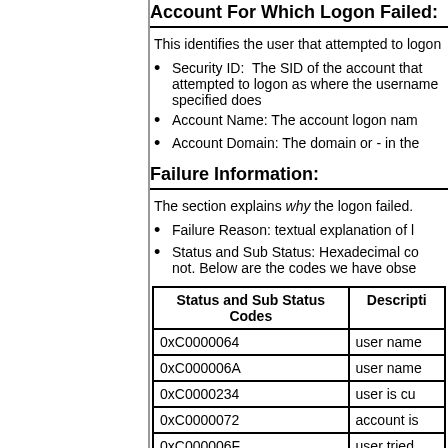Account For Which Logon Failed:
This identifies the user that attempted to logon
Security ID:  The SID of the account that attempted to logon as where the username specified does
Account Name: The account logon name
Account Domain: The domain or - in the
Failure Information:
The section explains why the logon failed.
Failure Reason: textual explanation of logon failure
Status and Sub Status: Hexadecimal codes not. Below are the codes we have observed
| Status and Sub Status Codes | Description |
| --- | --- |
| 0xC0000064 | user name |
| 0xC000006A | user name |
| 0xC0000234 | user is cu |
| 0xC0000072 | account is |
| 0xC000006F | user tried |
| 0xC0000070 | workstatio |